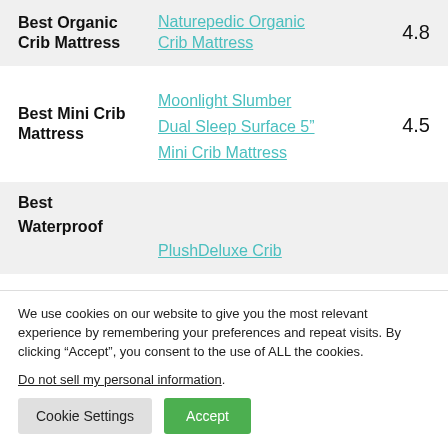| Category | Product | Rating |
| --- | --- | --- |
| Best Organic Crib Mattress | Naturepedic Organic Crib Mattress | 4.8 |
| Best Mini Crib Mattress | Moonlight Slumber Dual Sleep Surface 5" Mini Crib Mattress | 4.5 |
| Best Waterproof | PlushDeluxe Crib |  |
We use cookies on our website to give you the most relevant experience by remembering your preferences and repeat visits. By clicking “Accept”, you consent to the use of ALL the cookies.
Do not sell my personal information.